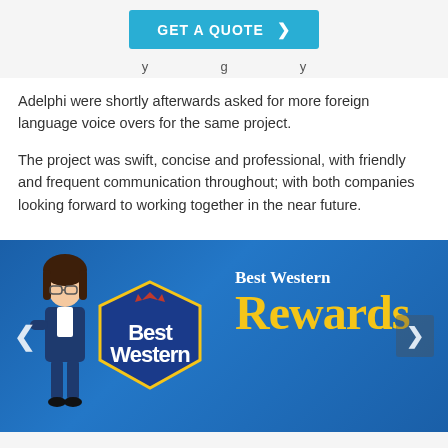[Figure (screenshot): GET A QUOTE button in blue/teal with right arrow chevron]
y ... g ... y (truncated/partially visible text)
Adelphi were shortly afterwards asked for more foreign language voice overs for the same project.
The project was swift, concise and professional, with friendly and frequent communication throughout; with both companies looking forward to working together in the near future.
[Figure (screenshot): Best Western Rewards promotional banner with animated character, Best Western logo, and yellow Rewards text on blue gradient background with navigation arrows]